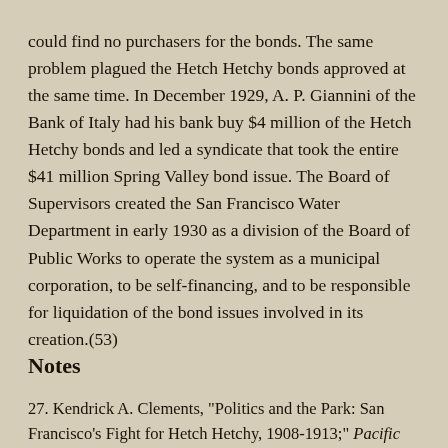could find no purchasers for the bonds. The same problem plagued the Hetch Hetchy bonds approved at the same time. In December 1929, A. P. Giannini of the Bank of Italy had his bank buy $4 million of the Hetch Hetchy bonds and led a syndicate that took the entire $41 million Spring Valley bond issue. The Board of Supervisors created the San Francisco Water Department in early 1930 as a division of the Board of Public Works to operate the system as a municipal corporation, to be self-financing, and to be responsible for liquidation of the bond issues involved in its creation.(53)
Notes
27. Kendrick A. Clements, "Politics and the Park: San Francisco's Fight for Hetch Hetchy, 1908-1913;" Pacific Historical Review 48 (1979): 187-188; Ray W